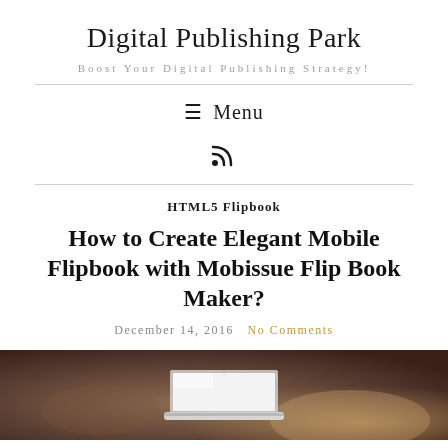Digital Publishing Park
Boost Your Digital Publishing Strategy!
≡ Menu
[RSS icon]
HTML5 Flipbook
How to Create Elegant Mobile Flipbook with Mobissue Flip Book Maker?
December 14, 2016  No Comments
[Figure (photo): A blurred photo showing a laptop on a desk, warm brown tones, used as article header image]